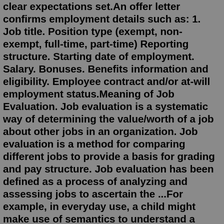clear expectations set.An offer letter confirms employment details such as: 1. Job title. Position type (exempt, non-exempt, full-time, part-time) Reporting structure. Starting date of employment. Salary. Bonuses. Benefits information and eligibility. Employee contract and/or at-will employment status.Meaning of Job Evaluation. Job evaluation is a systematic way of determining the value/worth of a job about other jobs in an organization. Job evaluation is a method for comparing different jobs to provide a basis for grading and pay structure. Job evaluation has been defined as a process of analyzing and assessing jobs to ascertain the ...For example, in everyday use, a child might make use of semantics to understand a mom's directive to "do your chores" as, "do your chores whenever you feel like it.". However, the mother was probably saying, "do your chores right now.". Since meaning in language is so complex, there are actually different theories used within ...Role Summary. Write a brief three to five sentence summary about what the candidate will do in their